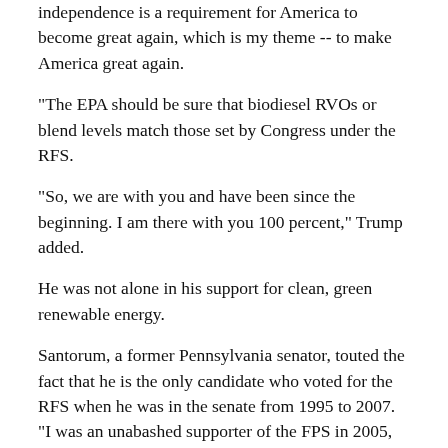independence is a requirement for America to become great again, which is my theme -- to make America great again.
“The EPA should be sure that biodiesel RVOs or blend levels match those set by Congress under the RFS.
“So, we are with you and have been since the beginning. I am there with you 100 percent,” Trump added.
He was not alone in his support for clean, green renewable energy.
Santorum, a former Pennsylvania senator, touted the fact that he is the only candidate who voted for the RFS when he was in the senate from 1995 to 2007. “I was an unabashed supporter of the FPS in 2005, before I had the vision to run for president.”
Related Articles